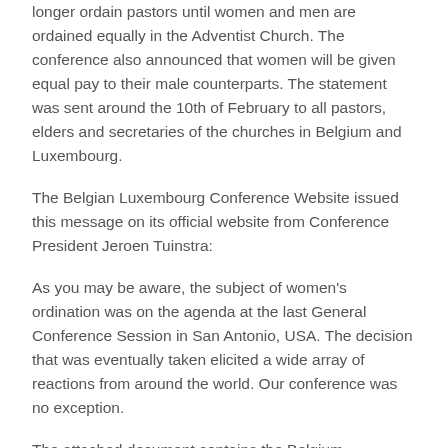longer ordain pastors until women and men are ordained equally in the Adventist Church. The conference also announced that women will be given equal pay to their male counterparts. The statement was sent around the 10th of February to all pastors, elders and secretaries of the churches in Belgium and Luxembourg.
The Belgian Luxembourg Conference Website issued this message on its official website from Conference President Jeroen Tuinstra:
As you may be aware, the subject of women's ordination was on the agenda at the last General Conference Session in San Antonio, USA. The decision that was eventually taken elicited a wide array of reactions from around the world. Our conference was no exception.
The attached document contains the Belgium-Luxembourg Conference's response to the decision taken in San Antonio, and includes an explanatory note from the Franco-Belgian Union. This statement is the result of many hours of meetings and discussion.
With this statement, we hope to demonstrate our recognition and support of those women called to serve as pastors, just as the General Conference, Inter-European Division, and Franco-Belgian Union have done. At the same time, the Federation board wishes to